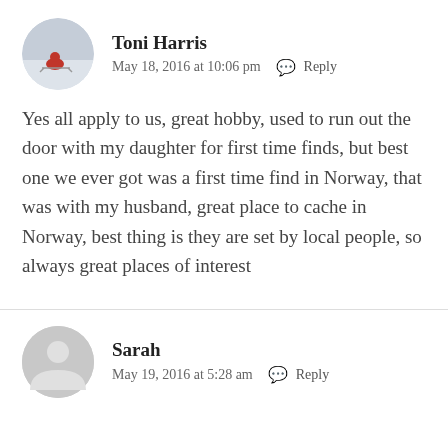[Figure (photo): Circular avatar photo of Toni Harris showing a person on a sled in a snowy winter scene]
Toni Harris
May 18, 2016 at 10:06 pm  Reply
Yes all apply to us, great hobby, used to run out the door with my daughter for first time finds, but best one we ever got was a first time find in Norway, that was with my husband, great place to cache in Norway, best thing is they are set by local people, so always great places of interest
[Figure (illustration): Circular grey placeholder avatar icon for Sarah]
Sarah
May 19, 2016 at 5:28 am  Reply